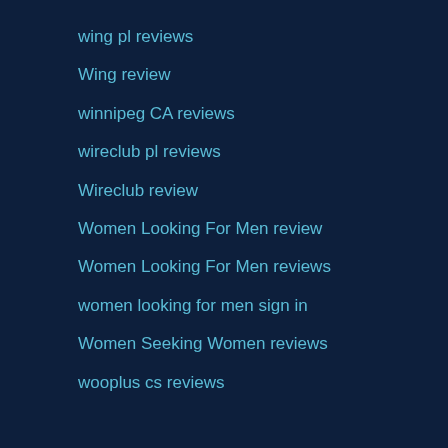wing pl reviews
Wing review
winnipeg CA reviews
wireclub pl reviews
Wireclub review
Women Looking For Men review
Women Looking For Men reviews
women looking for men sign in
Women Seeking Women reviews
wooplus cs reviews